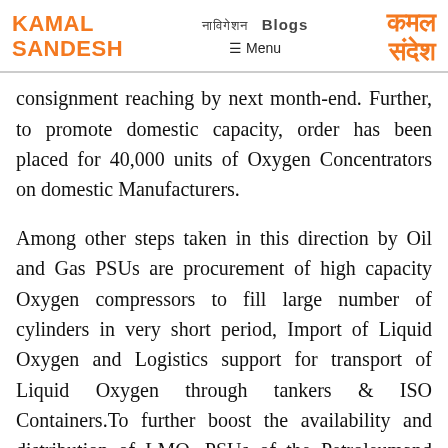KAMAL SANDESH | [Hindi nav] Blogs ☰ Menu | कमल संदेश
consignment reaching by next month-end. Further, to promote domestic capacity, order has been placed for 40,000 units of Oxygen Concentrators on domestic Manufacturers.
Among other steps taken in this direction by Oil and Gas PSUs are procurement of high capacity Oxygen compressors to fill large number of cylinders in very short period, Import of Liquid Oxygen and Logistics support for transport of Liquid Oxygen through tankers & ISO Containers.To further boost the availability and distribution of LMO, PSUs of the Petroleumand Natural Gas Ministry are establishing...